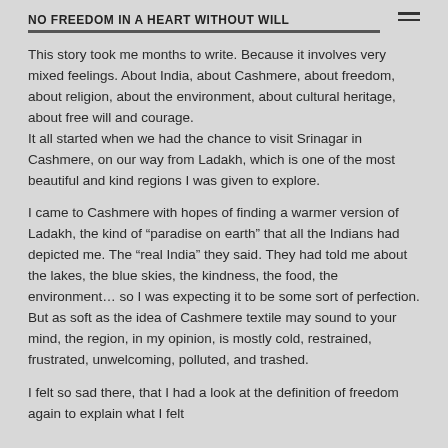No freedom in a heart without will
This story took me months to write. Because it involves very mixed feelings. About India, about Cashmere, about freedom, about religion, about the environment, about cultural heritage, about free will and courage.
It all started when we had the chance to visit Srinagar in Cashmere, on our way from Ladakh, which is one of the most beautiful and kind regions I was given to explore.
I came to Cashmere with hopes of finding a warmer version of Ladakh, the kind of “paradise on earth” that all the Indians had depicted me. The “real India” they said. They had told me about the lakes, the blue skies, the kindness, the food, the environment… so I was expecting it to be some sort of perfection. But as soft as the idea of Cashmere textile may sound to your mind, the region, in my opinion, is mostly cold, restrained, frustrated, unwelcoming, polluted, and trashed.
I felt so sad there, that I had a look at the definition of freedom again to explain what I felt